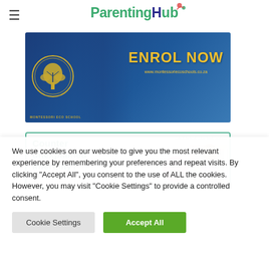ParentingHub
[Figure (photo): Montessori Eco School advertisement banner with children in blue uniforms, golden tree logo, and 'ENROL NOW' text with website www.montessoriecoschools.co.za]
[Figure (infographic): Book advertisement banner with text 'Counter unexplained infertility?' and 'Available at all major book retailers' with a NEW BOOK badge]
We use cookies on our website to give you the most relevant experience by remembering your preferences and repeat visits. By clicking "Accept All", you consent to the use of ALL the cookies. However, you may visit "Cookie Settings" to provide a controlled consent.
Cookie Settings | Accept All